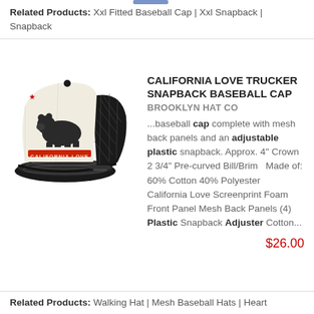Related Products: Xxl Fitted Baseball Cap | Xxl Snapback | Snapback
[Figure (photo): California Love Trucker Snapback Baseball Cap - black and white trucker hat with California Love bear logo]
CALIFORNIA LOVE TRUCKER SNAPBACK BASEBALL CAP
BROOKLYN HAT CO
...baseball cap complete with mesh back panels and an adjustable plastic snapback. Approx. 4" Crown  2 3/4" Pre-curved Bill/Brim   Made of:  60% Cotton 40% Polyester   California Love Screenprint Foam Front Panel Mesh Back Panels (4) Plastic Snapback Adjuster Cotton...
$26.00
Related Products: Walking Hat | Mesh Baseball Hats | Heart